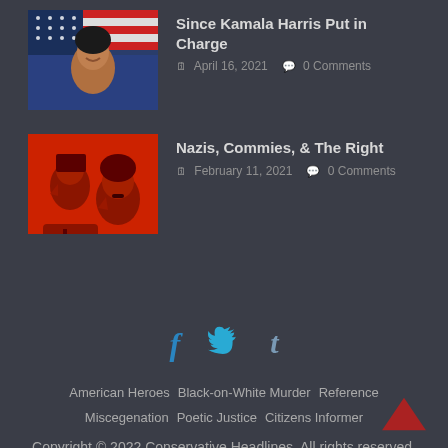[Figure (photo): Thumbnail photo of Kamala Harris smiling in front of American flag]
Since Kamala Harris Put in Charge
April 16, 2021  0 Comments
[Figure (photo): Red-tinted graphic showing two historical authoritarian figures in profile]
Nazis, Commies, & The Right
February 11, 2021  0 Comments
[Figure (infographic): Social media icons: Facebook (f), Twitter (bird), Tumblr (t)]
American Heroes   Black-on-White Murder   Reference
Miscegenation   Poetic Justice   Citizens Informer
Copyright © 2022 Conservative Headlines. All rights reserved.